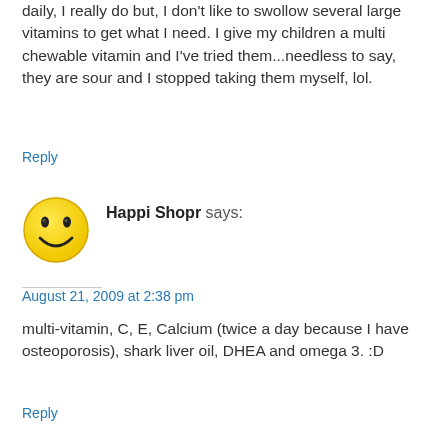daily, I really do but, I don't like to swollow several large vitamins to get what I need. I give my children a multi chewable vitamin and I've tried them...needless to say, they are sour and I stopped taking them myself, lol.
Reply
[Figure (illustration): Yellow smiley face avatar icon]
Happi Shopr says:
August 21, 2009 at 2:38 pm
multi-vitamin, C, E, Calcium (twice a day because I have osteoporosis), shark liver oil, DHEA and omega 3. :D
Reply